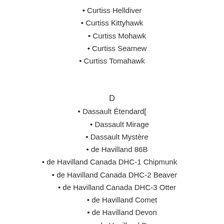• Curtiss Helldiver
• Curtiss Kittyhawk
• Curtiss Mohawk
• Curtiss Seamew
• Curtiss Tomahawk
D
• Dassault Étendard[
• Dassault Mirage
• Dassault Mystère
• de Havilland 86B
• de Havilland Canada DHC-1 Chipmunk
• de Havilland Canada DHC-2 Beaver
• de Havilland Canada DHC-3 Otter
• de Havilland Comet
• de Havilland Devon
• de Havilland Don
• de Havilland Flamingo